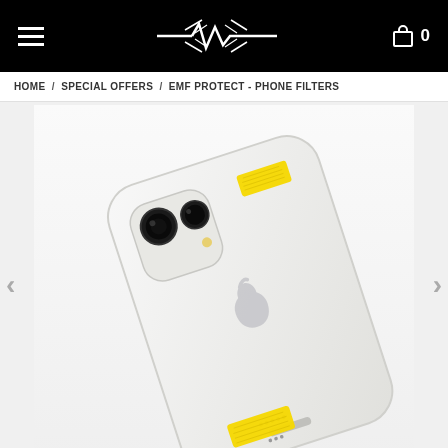Navigation bar with hamburger menu, logo, and cart with 0 items
HOME / SPECIAL OFFERS / EMF PROTECT - PHONE FILTERS
[Figure (photo): Back of a white Apple iPhone with two yellow EMF filter stickers applied — one near the top-right corner and one at the bottom center. The phone is photographed at an angle on a white background. Navigation arrows (< and >) are visible on the left and right sides.]